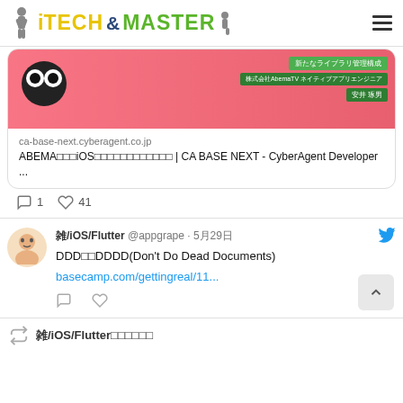iTECH & MASTER
[Figure (screenshot): Screenshot of a tweet card showing an AbemaTV/CyberAgent promo image with Japanese text about iOS library management, ca-base-next.cyberagent.co.jp domain, and article title about ABEMA iOS CA BASE NEXT CyberAgent Developer. Comment count: 1, Like count: 41.]
[Figure (screenshot): Tweet by 雑/iOS/Flutter @appgrape on 5月29日: 'DDD改めDDDD(Don't Do Dead Documents) basecamp.com/gettingreal/11...' with Twitter bird icon.]
雑/iOS/Flutter @appgrape · 5月29日
DDD改めDDDD(Don't Do Dead Documents)
basecamp.com/gettingreal/11...
雑/iOS/Flutter△△△△△△